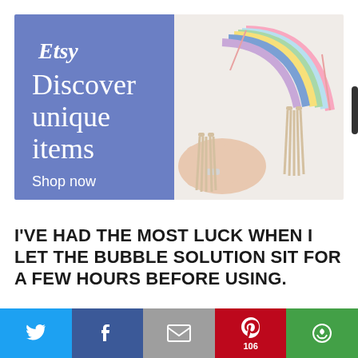[Figure (photo): Etsy advertisement banner showing 'Etsy Discover unique items Shop now' on blue background with a macrame rainbow wall hanging decoration held by a hand with a ring on white background]
I'VE HAD THE MOST LUCK WHEN I LET THE BUBBLE SOLUTION SIT FOR A FEW HOURS BEFORE USING.
[Figure (infographic): Social sharing bar with Twitter (blue), Facebook (dark blue), Email (grey), Pinterest (red, 106), and More/Share (green) buttons]